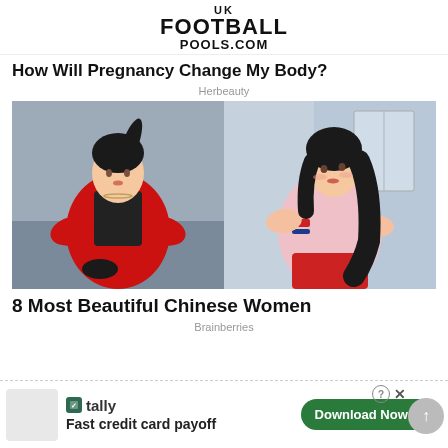[Figure (logo): UK Football Pools.com logo in bold black text]
How Will Pregnancy Change My Body?
Herbeauty
[Figure (photo): Two young Chinese women posing — left woman in red jacket and black top, right woman in pink t-shirt with red stripe]
8 Most Beautiful Chinese Women
Brainberries
[Figure (other): Tally app advertisement — Fast credit card payoff — Download Now button]